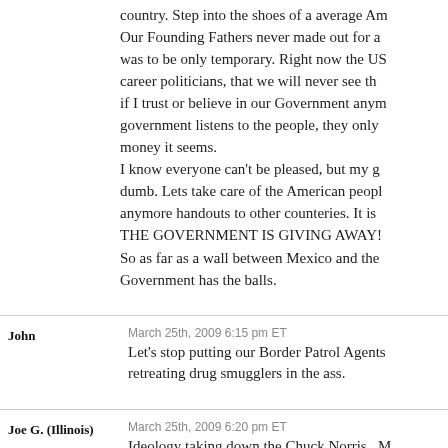country. Step into the shoes of a average Am... Our Founding Fathers never made out for a ... was to be only temporary. Right now the US... career politicians, that we will never see the... if I trust or believe in our Government anym... government listens to the people, they only ... money it seems. I know everyone can't be pleased, but my g... dumb. Lets take care of the American peopl... anymore handouts to other counteries. It is ... THE GOVERNMENT IS GIVING AWAY!... So as far as a wall between Mexico and the... Government has the balls.
John
March 25th, 2009 6:15 pm ET
Let's stop putting our Border Patrol Agents ... retreating drug smugglers in the ass.
Joe G. (Illinois)
March 25th, 2009 6:20 pm ET
Ideology taking down the Chuck Norris.. M... you to grow up and stop playing cowboy am... to stop believing in the Almighty USA. And... right! Try just the USA for what it really is...